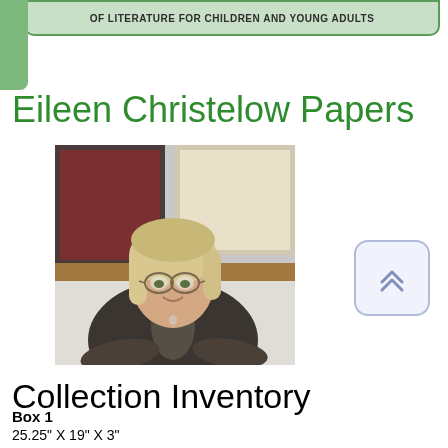OF LITERATURE FOR CHILDREN AND YOUNG ADULTS
Eileen Christelow Papers
[Figure (photo): Portrait photo of Eileen Christelow, a woman with light hair and glasses, wearing a dark jacket and scarf, seated indoors with artwork visible in the background.]
Collection Inventory
Box 1
25.25" X 19" X 3"